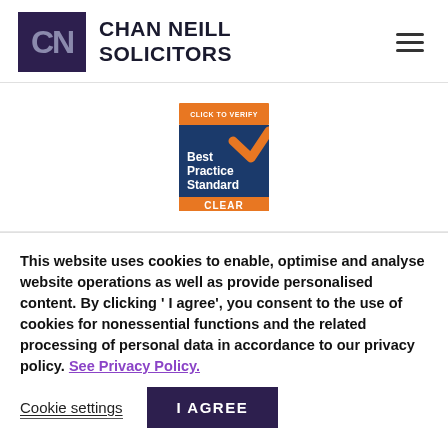[Figure (logo): Chan Neill Solicitors logo: dark purple square with 'CN' letters in grey, next to bold text 'CHAN NEILL SOLICITORS']
[Figure (logo): Best Practice Standard CLEAR verification badge with orange and navy blue colors, checkmark icon, text 'CLICK TO VERIFY Best Practice Standard CLEAR']
This website uses cookies to enable, optimise and analyse website operations as well as provide personalised content. By clicking ' I agree', you consent to the use of cookies for nonessential functions and the related processing of personal data in accordance to our privacy policy. See Privacy Policy.
Cookie settings
I AGREE